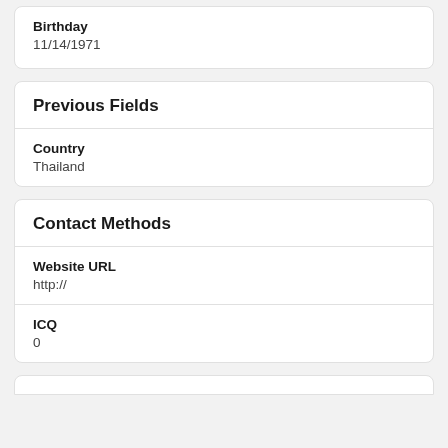Birthday
11/14/1971
Previous Fields
Country
Thailand
Contact Methods
Website URL
http://
ICQ
0